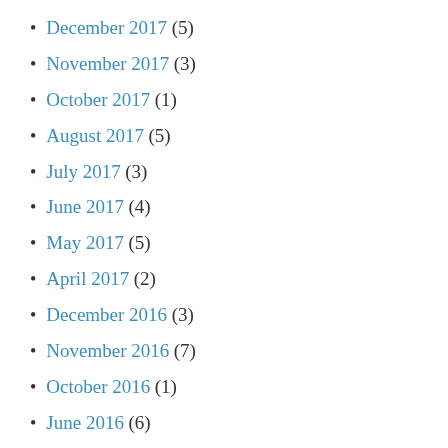December 2017 (5)
November 2017 (3)
October 2017 (1)
August 2017 (5)
July 2017 (3)
June 2017 (4)
May 2017 (5)
April 2017 (2)
December 2016 (3)
November 2016 (7)
October 2016 (1)
June 2016 (6)
May 2016 (6)
April 2016 (3)
March 2016 (5)
February 2016 (2)